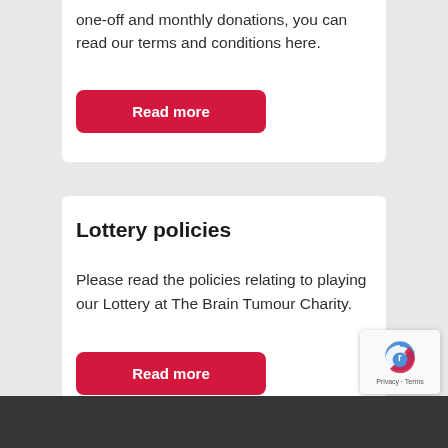one-off and monthly donations, you can read our terms and conditions here.
Read more
Lottery policies
Please read the policies relating to playing our Lottery at The Brain Tumour Charity.
Read more
[Figure (logo): reCAPTCHA badge with Privacy · Terms text]